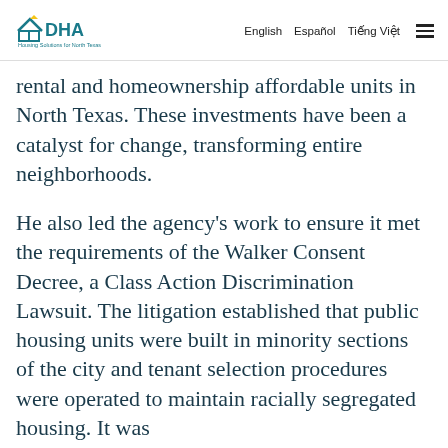DHA Housing Solutions for North Texas | English | Español | Tiếng Việt
rental and homeownership affordable units in North Texas. These investments have been a catalyst for change, transforming entire neighborhoods.
He also led the agency's work to ensure it met the requirements of the Walker Consent Decree, a Class Action Discrimination Lawsuit. The litigation established that public housing units were built in minority sections of the city and tenant selection procedures were operated to maintain racially segregated housing. It was